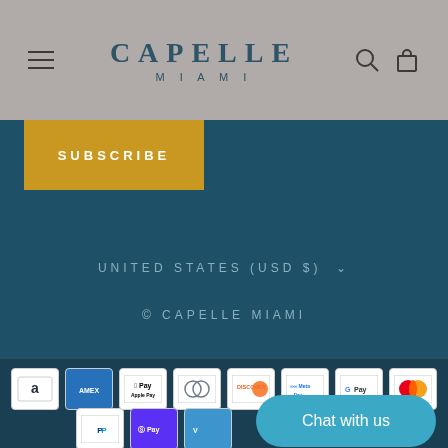CAPELLE MIAMI
SUBSCRIBE
UNITED STATES (USD $)
© CAPELLE MIAMI
[Figure (other): Payment method logos: Amazon, American Express, Apple Pay, Diners Club, Discover, Meta Pay, Google Pay, Mastercard, PayPal, Shop Pay, Venmo]
Chat with us